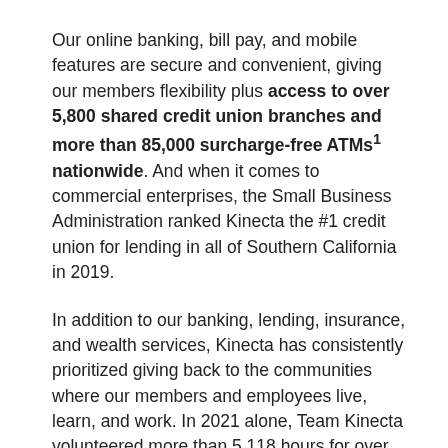Our online banking, bill pay, and mobile features are secure and convenient, giving our members flexibility plus access to over 5,800 shared credit union branches and more than 85,000 surcharge-free ATMs¹ nationwide. And when it comes to commercial enterprises, the Small Business Administration ranked Kinecta the #1 credit union for lending in all of Southern California in 2019.
In addition to our banking, lending, insurance, and wealth services, Kinecta has consistently prioritized giving back to the communities where our members and employees live, learn, and work. In 2021 alone, Team Kinecta volunteered more than 5,118 hours for over 225 community events, providing essential resources to roughly